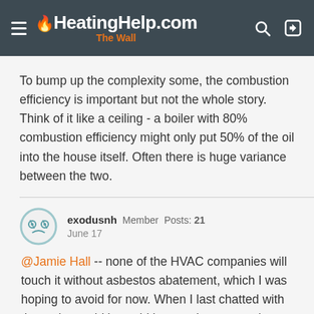HeatingHelp.com — The Wall
To bump up the complexity some, the combustion efficiency is important but not the whole story. Think of it like a ceiling - a boiler with 80% combustion efficiency might only put 50% of the oil into the house itself. Often there is huge variance between the two.
exodusnh Member Posts: 21 June 17
@Jamie Hall -- none of the HVAC companies will touch it without asbestos abatement, which I was hoping to avoid for now. When I last chatted with them, they said it would have to be removed around the boiler and